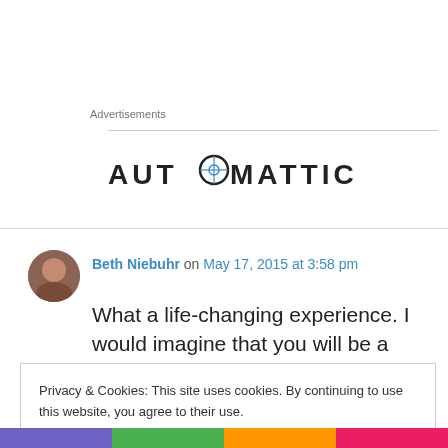Advertisements
[Figure (logo): Automattic logo with stylized O containing a globe/compass icon]
Beth Niebuhr on May 17, 2015 at 3:58 pm
What a life-changing experience. I would imagine that you will be a somewhat different
Privacy & Cookies: This site uses cookies. By continuing to use this website, you agree to their use.
To find out more, including how to control cookies, see here: Cookie Policy
Close and accept